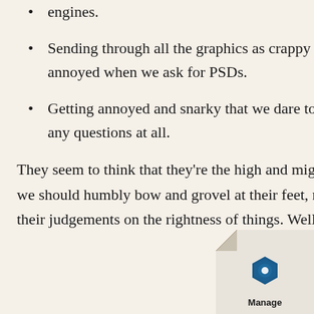engines.
Sending through all the graphics as crappy GIF files, then getting annoyed when we ask for PSDs.
Getting annoyed and snarky that we dare to phone them up and ask any questions at all.
They seem to think that they're the high and mighty priests of design, and we should humbly bow and grovel at their feet, never daring to doubt their judgements on the rightness of things. Well, too bad people –
[Figure (logo): Manage logo with blue hexagon icon on curled page corner]